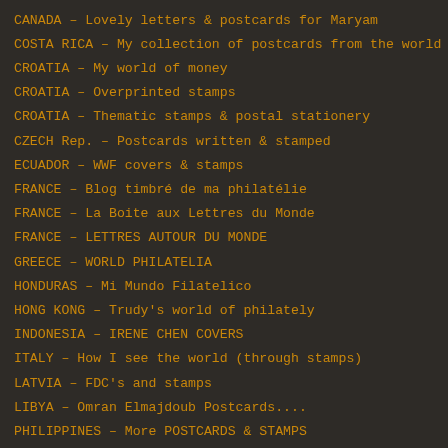CANADA – Lovely letters & postcards for Maryam
COSTA RICA – My collection of postcards from the world
CROATIA – My world of money
CROATIA – Overprinted stamps
CROATIA – Thematic stamps & postal stationery
CZECH Rep. – Postcards written & stamped
ECUADOR – WWF covers & stamps
FRANCE – Blog timbré de ma philatélie
FRANCE – La Boite aux Lettres du Monde
FRANCE – LETTRES AUTOUR DU MONDE
GREECE – WORLD PHILATELIA
HONDURAS – Mi Mundo Filatelico
HONG KONG – Trudy's world of philately
INDONESIA – IRENE CHEN COVERS
ITALY – How I see the world (through stamps)
LATVIA – FDC's and stamps
LIBYA – Omran Elmajdoub Postcards....
PHILIPPINES – More POSTCARDS & STAMPS
PHILIPPINES – Postcards and stamps
PHILIPPINES – Stamps, covers, etc.......
POLAND – Philately of Wild birds & WWF